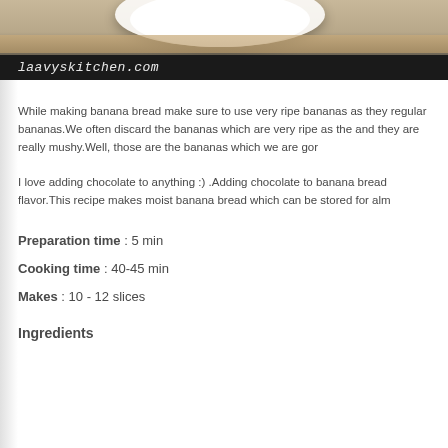[Figure (photo): Food photo banner showing a white plate on a wooden surface with dark background and laavyskitchen.com watermark]
While making banana bread make sure to use very ripe bananas as they regular bananas.We often discard the bananas which are very ripe as the and they are really mushy.Well, those are the bananas which we are gor
I love adding chocolate to anything :) .Adding chocolate to banana bread flavor.This recipe makes moist banana bread which can be stored for alm
Preparation time : 5 min
Cooking time : 40-45 min
Makes : 10 - 12 slices
Ingredients